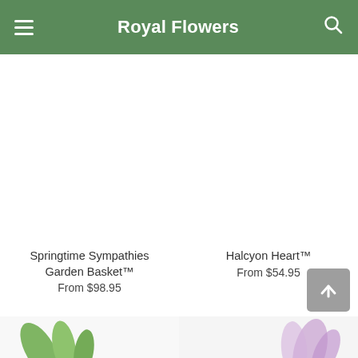Royal Flowers
FREE* Same Day Delivery ends in: 08 : 32 : 37
[Figure (photo): Product image placeholder for Springtime Sympathies Garden Basket (white/blank area)]
Springtime Sympathies Garden Basket™
From $98.95
[Figure (photo): Product image placeholder for Halcyon Heart (white/blank area)]
Halcyon Heart™
From $54.95
[Figure (photo): Partial product image at bottom left, showing green leaf/flower elements]
[Figure (photo): Partial product image at bottom right]